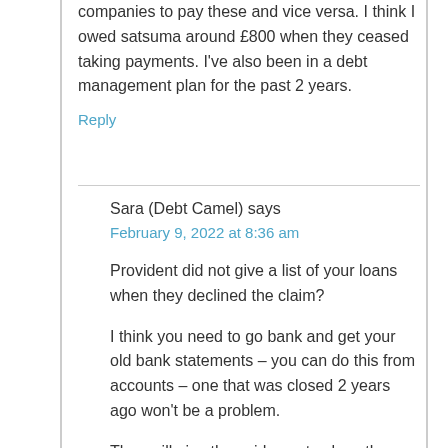companies to pay these and vice versa. I think I owed satsuma around £800 when they ceased taking payments. I've also been in a debt management plan for the past 2 years.
Reply
Sara (Debt Camel) says
February 9, 2022 at 8:36 am
Provident did not give a list of your loans when they declined the claim?
I think you need to go bank and get your old bank statements – you can do this from accounts – one that was closed 2 years ago won't be a problem.
They will give the evidence to show the Satsuma loans were unaffordable.